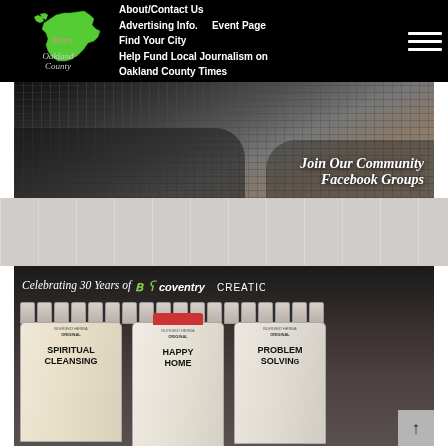[Figure (screenshot): Website header/navigation bar for Oakland County Times on black background, with green Michigan state logo, site name, and navigation links: About/Contact Us, Advertising Info., Event Page, Find Your City, Help Fund Local Journalism on Oakland County Times. Hamburger menu icon on right.]
[Figure (photo): Banner image showing hands typing on laptops from above, with italic white text overlay reading 'Join Our Community Facebook Groups']
[Figure (photo): Advertisement banner for Coventry Creations celebrating 30 years, showing product bottles including Spiritual Cleansing, Happy Home, and Problem Solving candles/products on a shelf with dark background.]